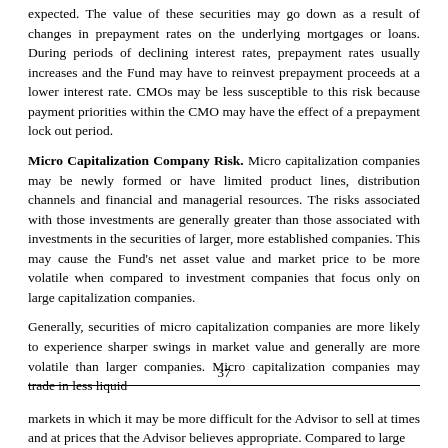expected. The value of these securities may go down as a result of changes in prepayment rates on the underlying mortgages or loans. During periods of declining interest rates, prepayment rates usually increases and the Fund may have to reinvest prepayment proceeds at a lower interest rate. CMOs may be less susceptible to this risk because payment priorities within the CMO may have the effect of a prepayment lock out period.
Micro Capitalization Company Risk. Micro capitalization companies may be newly formed or have limited product lines, distribution channels and financial and managerial resources. The risks associated with those investments are generally greater than those associated with investments in the securities of larger, more established companies. This may cause the Fund's net asset value and market price to be more volatile when compared to investment companies that focus only on large capitalization companies.
Generally, securities of micro capitalization companies are more likely to experience sharper swings in market value and generally are more volatile than larger companies. Micro capitalization companies may trade in less liquid
37
markets in which it may be more difficult for the Advisor to sell at times and at prices that the Advisor believes appropriate. Compared to large